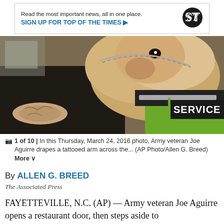[Figure (infographic): Advertisement banner: 'Read the most important news, all in one place. SIGN UP FOR TOP OF THE TIMES ▶' with Seattle Times logo icon]
[Figure (photo): Army veteran Joe Aguirre crouching and draping a tattooed arm across a golden retriever wearing a green and black SERVICE vest with chain leash, outdoors.]
1 of 10 | In this Thursday, March 24, 2016 photo, Army veteran Joe Aguirre drapes a tattooed arm across the... (AP Photo/Allen G. Breed) More
By ALLEN G. BREED
The Associated Press
FAYETTEVILLE, N.C. (AP) — Army veteran Joe Aguirre opens a restaurant door, then steps aside to